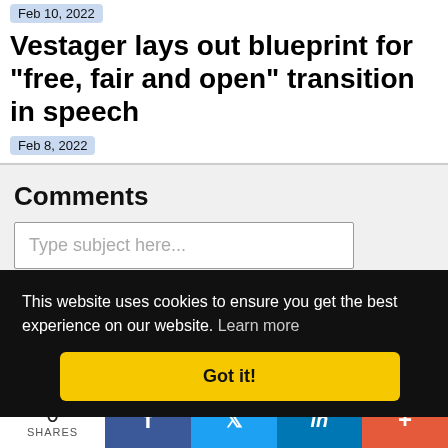Feb 10, 2022
Vestager lays out blueprint for "free, fair and open" transition in speech
Feb 8, 2022
Comments
Type subject here...
This website uses cookies to ensure you get the best experience on our website. Learn more
Got it!
0 SHARES